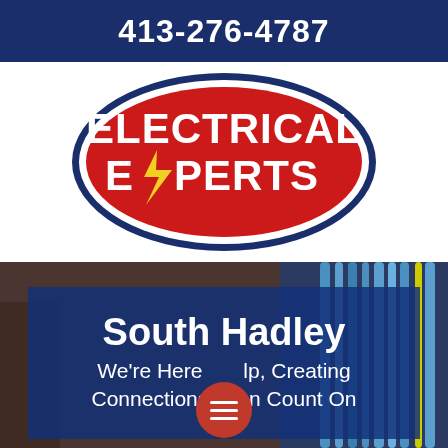413-276-4787
[Figure (logo): Electrical Experts logo: a red oval with dark blue border on white background. Text reads ELECTRICAL EXPERTS in white bold letters with a yellow lightning bolt replacing the X in EXPERTS.]
[Figure (photo): Background photo showing electrical wiring and cables, with a person's hand visible on the left. A semi-transparent dark blue overlay panel is placed over the bottom portion showing text.]
South Hadley
We're Here to Help, Creating Connections You Can Count On